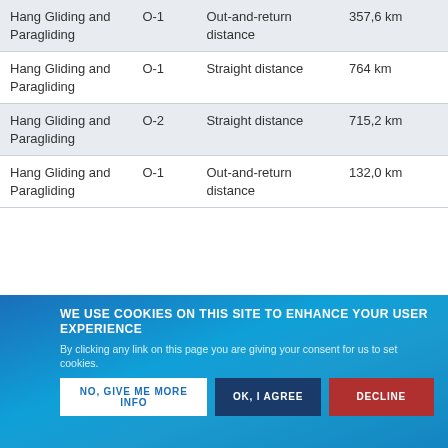| Sport | Class | Type | Distance |
| --- | --- | --- | --- |
| Hang Gliding and Paragliding | O-1 | Out-and-return distance | 357,6 km |
| Hang Gliding and Paragliding | O-1 | Straight distance | 764 km |
| Hang Gliding and Paragliding | O-2 | Straight distance | 715,2 km |
| Hang Gliding and Paragliding | O-1 | Out-and-return distance | 132,0 km |
| Hang Gliding and Paragliding |  | Free Distance using a triangle | 329,3 km |
| Hang Gliding and Paragliding |  | Course of ... km | 60,80 km/h |
WE USE COOKIES ON THIS SITE TO ENHANCE YOUR USER EXPERIENCE
By clicking any link on this page you are giving your consent for us to set cookies.
NO, GIVE ME MORE INFO | OK, I AGREE | DECLINE